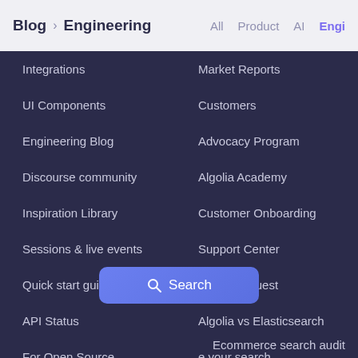Blog > Engineering   All   Product   AI   Engi
Integrations
Market Reports
UI Components
Customers
Engineering Blog
Advocacy Program
Discourse community
Algolia Academy
Inspiration Library
Customer Onboarding
Sessions & live events
Support Center
Quick start guide
Demo Request
API Status
Algolia vs Elasticsearch
For Open Source
e your search
[Figure (screenshot): Search button with magnifying glass icon]
Ecommerce search audit